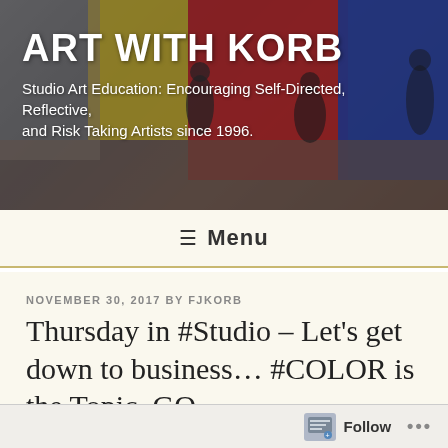[Figure (photo): Header image of an art gallery with colorful red, yellow, and blue painted wall panels, with people visible in the background]
ART WITH KORB
Studio Art Education: Encouraging Self-Directed, Reflective, and Risk Taking Artists since 1996.
☰ Menu
NOVEMBER 30, 2017 BY FJKORB
Thursday in #Studio – Let's get down to business… #COLOR is the Topic. GO
52 Every color has an opposite, called a complement. Complementary colors sit opposite one another in the color wheel. Additionally, all colors are
Follow   •••